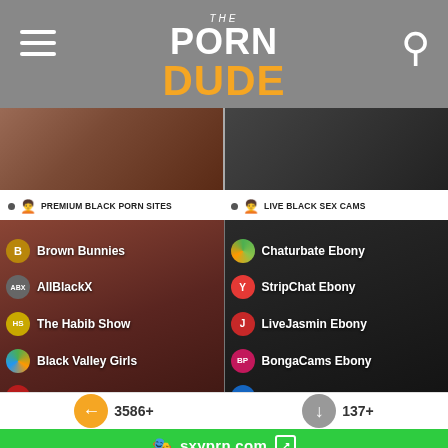THE PORN DUDE
[Figure (screenshot): Two preview thumbnail images side by side]
PREMIUM BLACK PORN SITES
LIVE BLACK SEX CAMS
[Figure (screenshot): Premium Black Porn Sites card with list: Brown Bunnies, AllBlackX, The Habib Show, Black Valley Girls, African Casting]
[Figure (screenshot): Live Black Sex Cams card with list: Chaturbate Ebony, StripChat Ebony, LiveJasmin Ebony, BongaCams Ebony, Streamate Ebony]
sxyprn.com
3586+ All Porn Sites
137+ Free Porn Tube Sites